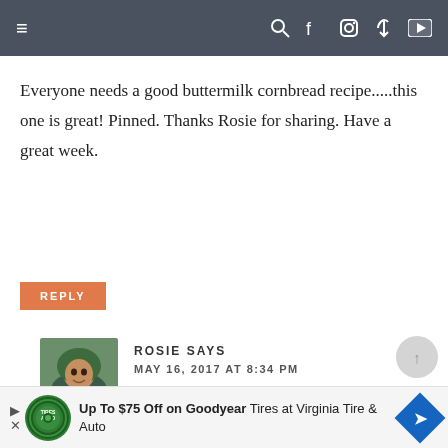Navigation bar with menu, search, facebook, instagram, pinterest, youtube icons
Everyone needs a good buttermilk cornbread recipe.....this one is great! Pinned. Thanks Rosie for sharing. Have a great week.
REPLY
ROSIE SAYS
MAY 16, 2017 AT 8:34 PM
I so agree Mary! Thanks for pinning.
REPLY
Up To $75 Off on Goodyear Tires at Virginia Tire & Auto